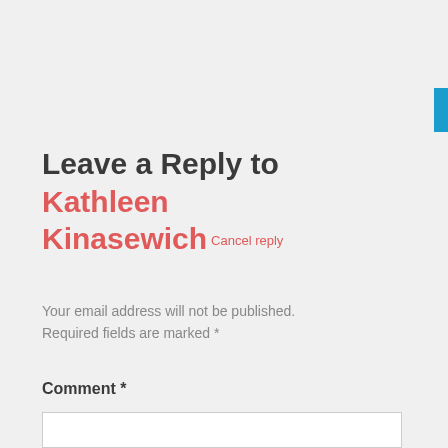Leave a Reply to Kathleen Kinasewich Cancel reply
Your email address will not be published. Required fields are marked *
Comment *